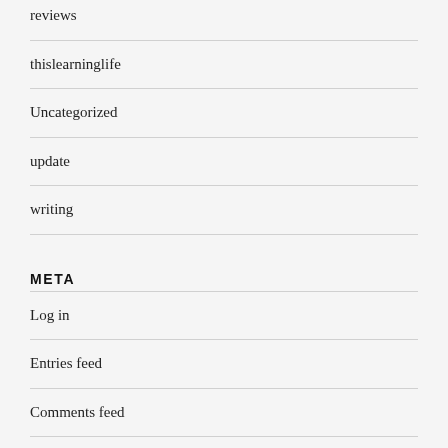reviews
thislearninglife
Uncategorized
update
writing
META
Log in
Entries feed
Comments feed
WordPress.org